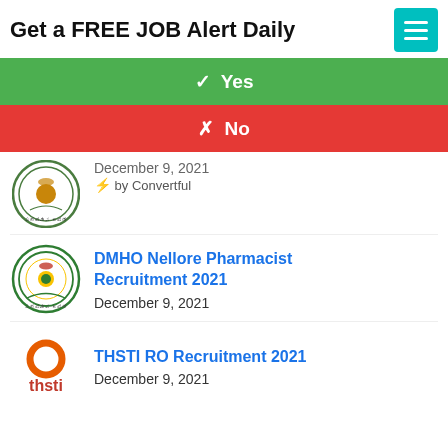Get a FREE JOB Alert Daily
✓ Yes
✗ No
[Figure (logo): Andhra Pradesh government seal logo]
December 9, 2021
⚡ by Convertful
[Figure (logo): Andhra Pradesh government seal logo (green circular emblem)]
DMHO Nellore Pharmacist Recruitment 2021
December 9, 2021
[Figure (logo): THSTI orange ring logo with text]
THSTI RO Recruitment 2021
December 9, 2021